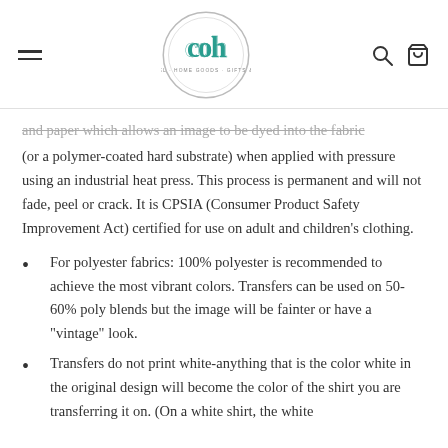Charlottes Heart logo header with hamburger menu, search, and cart icons
and paper which allows an image to be dyed into the fabric (or a polymer-coated hard substrate) when applied with pressure using an industrial heat press. This process is permanent and will not fade, peel or crack. It is CPSIA (Consumer Product Safety Improvement Act) certified for use on adult and children's clothing.
For polyester fabrics: 100% polyester is recommended to achieve the most vibrant colors. Transfers can be used on 50-60% poly blends but the image will be fainter or have a "vintage" look.
Transfers do not print white-anything that is the color white in the original design will become the color of the shirt you are transferring it on. (On a white shirt, the white